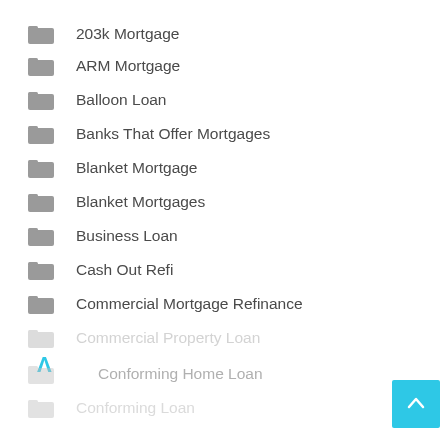203k Mortgage
ARM Mortgage
Balloon Loan
Banks That Offer Mortgages
Blanket Mortgage
Blanket Mortgages
Business Loan
Cash Out Refi
Commercial Mortgage Refinance
Commercial Property Loan
Conforming Home Loan
Conforming Loan